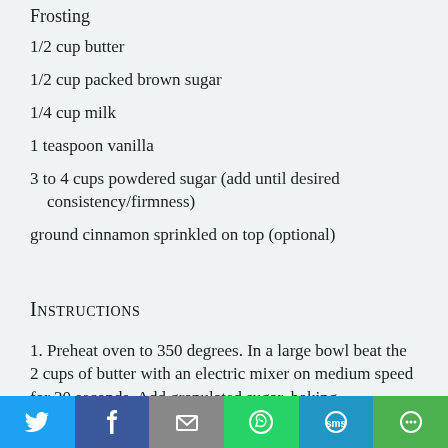Frosting
1/2 cup butter
1/2 cup packed brown sugar
1/4 cup milk
1 teaspoon vanilla
3 to 4 cups powdered sugar (add until desired consistency/firmness)
ground cinnamon sprinkled on top (optional)
Instructions
1. Preheat oven to 350 degrees. In a large bowl beat the 2 cups of butter with an electric mixer on medium speed for 30 seconds. Add granulated sugar, baking powder,baking soda,salt,the 1 teaspoon cinnamon,and the